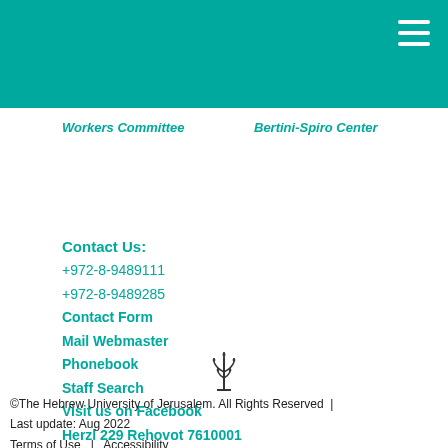Workers Committee
Bertini-Spiro Center
Contact Us:
+972-8-9489111
+972-8-9489285
Contact Form
Mail Webmaster
Phonebook
Staff Search
Visit us on Facebook
Herzl 229 Rehovot 7610001
Map & Directions
[Figure (logo): Hebrew University of Jerusalem logo/menorah symbol]
©The Hebrew University of Jerusalem. All Rights Reserved  |  Last update: Aug 2022
Terms of Use   |   Accessibility